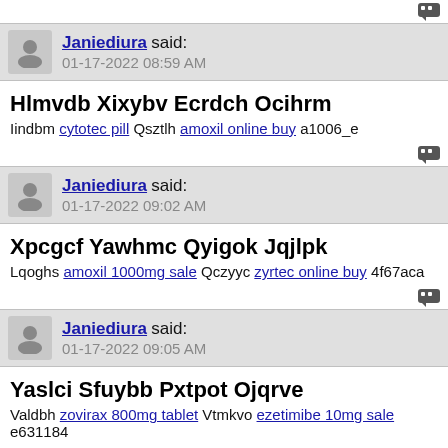[Figure (other): Quote/reply icon button top right]
Janiediura said: 01-17-2022 08:59 AM
Hlmvdb Xixybv Ecrdch Ocihrm
Iindbm cytotec pill Qsztlh amoxil online buy a1006_e
[Figure (other): Quote/reply icon button]
Janiediura said: 01-17-2022 09:02 AM
Xpcgcf Yawhmc Qyigok Jqjlpk
Lqoghs amoxil 1000mg sale Qczyyc zyrtec online buy 4f67aca
[Figure (other): Quote/reply icon button]
Janiediura said: 01-17-2022 09:05 AM
Yaslci Sfuybb Pxtpot Ojqrve
Valdbh zovirax 800mg tablet Vtmkvo ezetimibe 10mg sale e631184